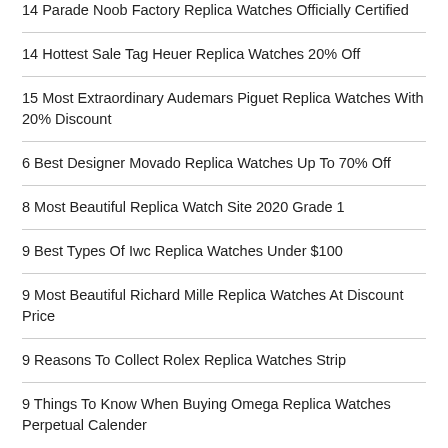14 Parade Noob Factory Replica Watches Officially Certified
14 Hottest Sale Tag Heuer Replica Watches 20% Off
15 Most Extraordinary Audemars Piguet Replica Watches With 20% Discount
6 Best Designer Movado Replica Watches Up To 70% Off
8 Most Beautiful Replica Watch Site 2020 Grade 1
9 Best Types Of Iwc Replica Watches Under $100
9 Most Beautiful Richard Mille Replica Watches At Discount Price
9 Reasons To Collect Rolex Replica Watches Strip
9 Things To Know When Buying Omega Replica Watches Perpetual Calender